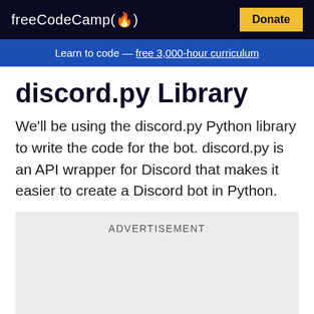freeCodeCamp(🔥) Donate
Learn to code — free 3,000-hour curriculum
discord.py Library
We'll be using the discord.py Python library to write the code for the bot. discord.py is an API wrapper for Discord that makes it easier to create a Discord bot in Python.
[Figure (other): Advertisement placeholder box]